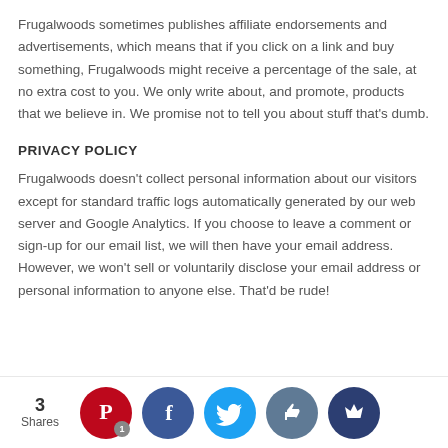Frugalwoods sometimes publishes affiliate endorsements and advertisements, which means that if you click on a link and buy something, Frugalwoods might receive a percentage of the sale, at no extra cost to you. We only write about, and promote, products that we believe in. We promise not to tell you about stuff that's dumb.
PRIVACY POLICY
Frugalwoods doesn't collect personal information about our visitors except for standard traffic logs automatically generated by our web server and Google Analytics. If you choose to leave a comment or sign-up for our email list, we will then have your email address. However, we won't sell or voluntarily disclose your email address or personal information to anyone else. That'd be rude!
[Figure (infographic): Social sharing bar with share count (3 Shares) and social media buttons: Pinterest (red, badge '1'), Facebook (dark blue), Twitter (light blue), Like/thumbs-up (grey-blue), Crown (dark blue, partially visible)]